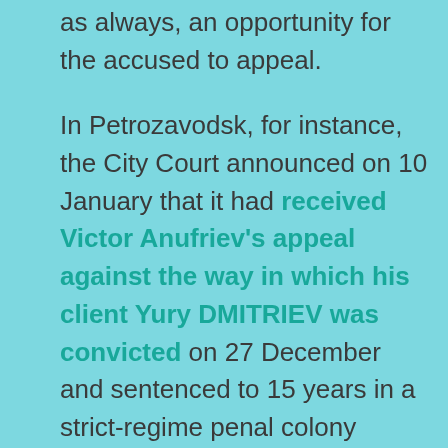as always, an opportunity for the accused to appeal.
In Petrozavodsk, for instance, the City Court announced on 10 January that it had received Victor Anufriev's appeal against the way in which his client Yury DMITRIEV was convicted on 27 December and sentenced to 15 years in a strict-regime penal colony